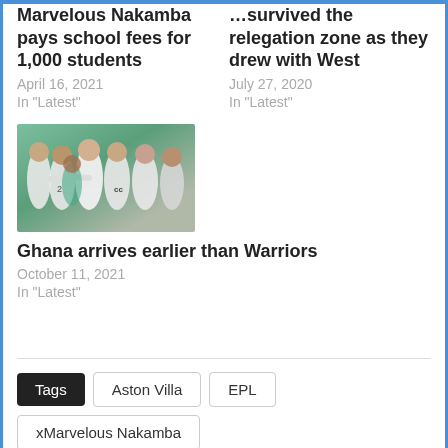Marvelous Nakamba pays school fees for 1,000 students
April 16, 2021
In "Latest"
…survived the relegation zone as they drew with West
July 27, 2020
In "Latest"
[Figure (photo): Group of football players in white jerseys gathered together on a pitch]
Ghana arrives earlier than Warriors
October 11, 2021
In "Latest"
Tags  Aston Villa  EPL  xMarvelous Nakamba